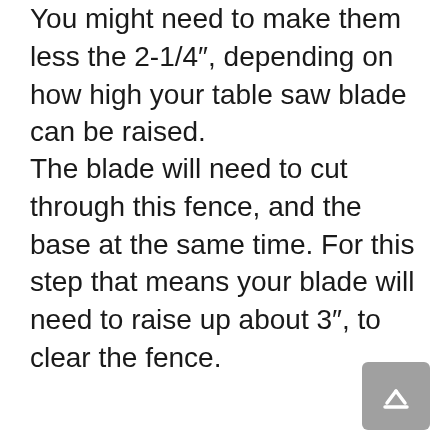You might need to make them less the 2-1/4″, depending on how high your table saw blade can be raised.
The blade will need to cut through this fence, and the base at the same time. For this step that means your blade will need to raise up about 3″, to clear the fence.